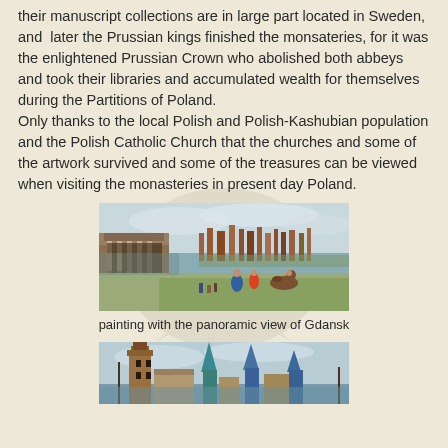their manuscript collections are in large part located in Sweden, and  later the Prussian kings finished the monsateries, for it was the enlightened Prussian Crown who abolished both abbeys and took their libraries and accumulated wealth for themselves during the Partitions of Poland.
Only thanks to the local Polish and Polish-Kashubian population and the Polish Catholic Church that the churches and some of the artwork survived and some of the treasures can be viewed when visiting the monasteries in present day Poland.
[Figure (photo): Painting with panoramic view of Gdansk showing a historical cityscape with water, figures in the foreground, and city buildings in the background.]
painting with the panoramic view of Gdansk
[Figure (photo): Bottom portion of a painting showing church spires and towers, a historical city scene.]